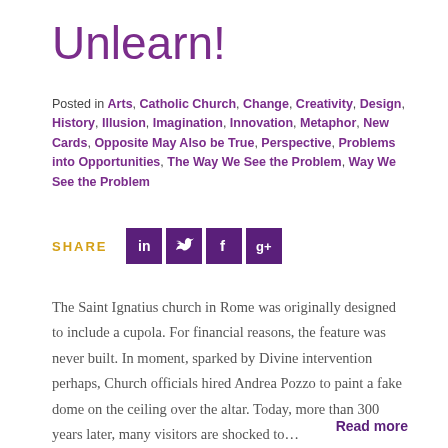Unlearn!
Posted in Arts, Catholic Church, Change, Creativity, Design, History, Illusion, Imagination, Innovation, Metaphor, New Cards, Opposite May Also be True, Perspective, Problems into Opportunities, The Way We See the Problem, Way We See the Problem
[Figure (infographic): SHARE label with social media icon buttons for LinkedIn, Twitter, Facebook, and Google+]
The Saint Ignatius church in Rome was originally designed to include a cupola. For financial reasons, the feature was never built. In moment, sparked by Divine intervention perhaps, Church officials hired Andrea Pozzo to paint a fake dome on the ceiling over the altar. Today, more than 300 years later, many visitors are shocked to…
Read more